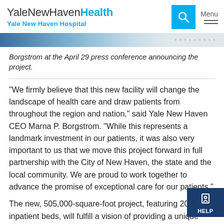YaleNewHavenHealth Yale New Haven Hospital
[Figure (photo): Partial photo strip showing a press conference scene, cropped at top of page]
Borgstrom at the April 29 press conference announcing the project.
“We firmly believe that this new facility will change the landscape of health care and draw patients from throughout the region and nation,” said Yale New Haven CEO Marna P. Borgstrom. “While this represents a landmark investment in our patients, it was also very important to us that we move this project forward in full partnership with the City of New Haven, the state and the local community. We are proud to work together to advance the promise of exceptional care for our patients.”
The new, 505,000-square-foot project, featuring 204 inpatient beds, will fulfill a vision of providing a unique setting for patients seeking innovative care, from treatment for movement disorders to